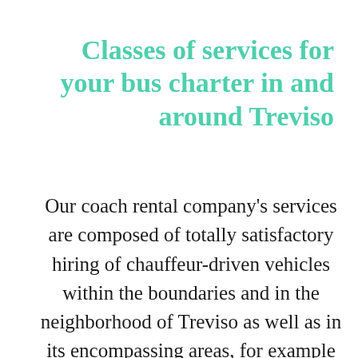Classes of services for your bus charter in and around Treviso
Our coach rental company's services are composed of totally satisfactory hiring of chauffeur-driven vehicles within the boundaries and in the neighborhood of Treviso as well as in its encompassing areas, for example point-to-point, tailor-made journeys linking Treviso and